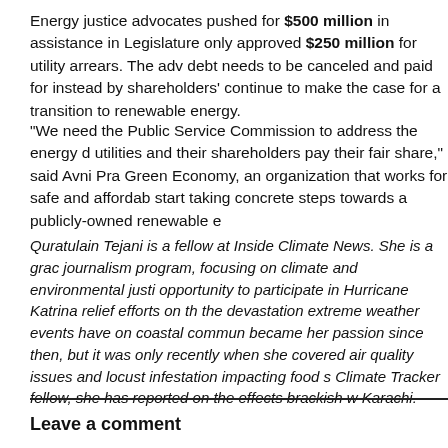Energy justice advocates pushed for $500 million in assistance in Legislature only approved $250 million for utility arrears. The adv debt needs to be canceled and paid for instead by shareholders' continue to make the case for a transition to renewable energy.
“We need the Public Service Commission to address the energy d utilities and their shareholders pay their fair share,” said Avni Pra Green Economy, an organization that works for safe and affordab start taking concrete steps towards a publicly-owned renewable e
Quratulain Tejani is a fellow at Inside Climate News. She is a grac journalism program, focusing on climate and environmental justi opportunity to participate in Hurricane Katrina relief efforts on th the devastation extreme weather events have on coastal commun became her passion since then, but it was only recently when she covered air quality issues and locust infestation impacting food s Climate Tracker fellow, she has reported on the effects brackish w Karachi.
Leave a comment